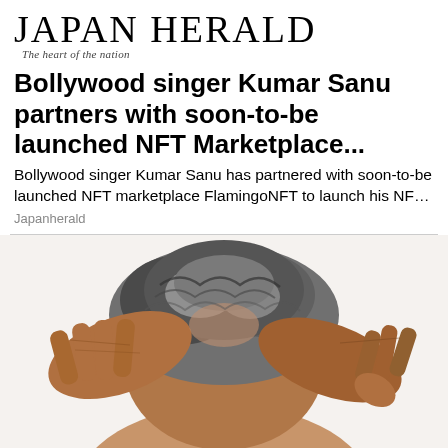JAPAN HERALD
The heart of the nation
Bollywood singer Kumar Sanu partners with soon-to-be launched NFT Marketplace...
Bollywood singer Kumar Sanu has partnered with soon-to-be launched NFT marketplace FlamingoNFT to launch his NF...
Japanherald
[Figure (photo): Close-up photograph of an elderly man with gray curly hair, with two hands gripping the top of his head from behind, visible against a white background.]